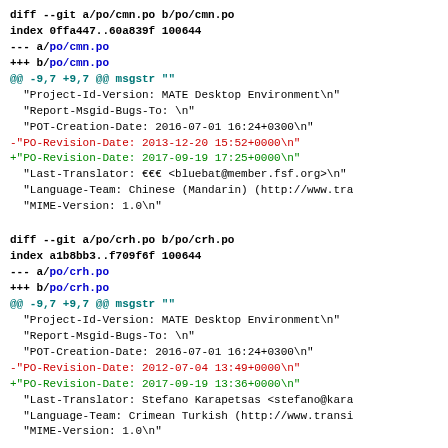diff --git a/po/cmn.po b/po/cmn.po
index 0ffa447..60a839f 100644
--- a/po/cmn.po
+++ b/po/cmn.po
@@ -9,7 +9,7 @@ msgstr ""
 "Project-Id-Version: MATE Desktop Environment\n"
 "Report-Msgid-Bugs-To: \n"
 "POT-Creation-Date: 2016-07-01 16:24+0300\n"
-"PO-Revision-Date: 2013-12-20 15:52+0000\n"
+"PO-Revision-Date: 2017-09-19 17:25+0000\n"
 "Last-Translator: ??? <bluebat@member.fsf.org>\n"
 "Language-Team: Chinese (Mandarin) (http://www.tra
 "MIME-Version: 1.0\n"
diff --git a/po/crh.po b/po/crh.po
index a1b8bb3..f709f6f 100644
--- a/po/crh.po
+++ b/po/crh.po
@@ -9,7 +9,7 @@ msgstr ""
 "Project-Id-Version: MATE Desktop Environment\n"
 "Report-Msgid-Bugs-To: \n"
 "POT-Creation-Date: 2016-07-01 16:24+0300\n"
-"PO-Revision-Date: 2012-07-04 13:49+0000\n"
+"PO-Revision-Date: 2017-09-19 13:36+0000\n"
 "Last-Translator: Stefano Karapetsas <stefano@kara
 "Language-Team: Crimean Turkish (http://www.transi
 "MIME-Version: 1.0\n"
diff --git a/po/cs.po b/po/cs.po
index adaa5cc..99cda2a 100644